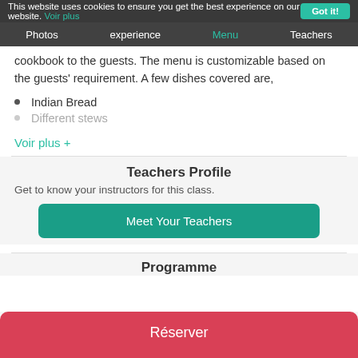This website uses cookies to ensure you get the best experience on our website. Voir plus Got it!
Photos  experience  Menu  Teachers
cookbook to the guests. The menu is customizable based on the guests' requirement. A few dishes covered are,
Indian Bread
Different stews
Voir plus +
Teachers Profile
Get to know your instructors for this class.
Meet Your Teachers
Programme
Réserver